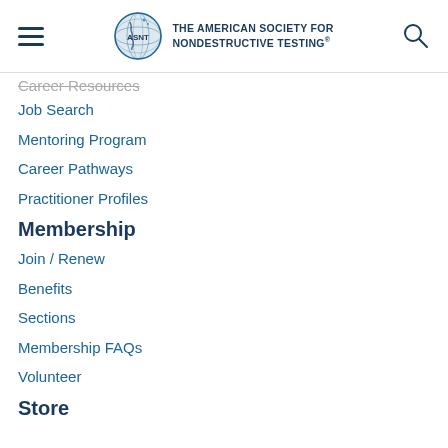ASNT — The American Society for Nondestructive Testing
Career Resources
Job Search
Mentoring Program
Career Pathways
Practitioner Profiles
Membership
Join / Renew
Benefits
Sections
Membership FAQs
Volunteer
Store